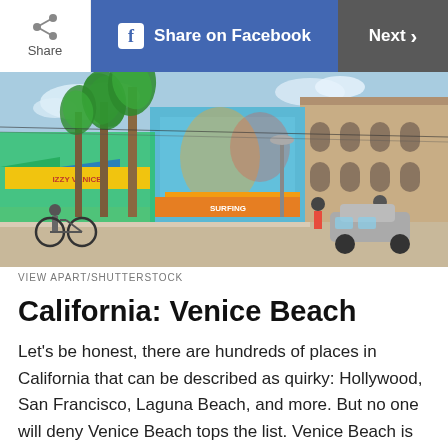Share | Share on Facebook | Next >
[Figure (photo): Street scene at Venice Beach boardwalk with colorful shops, murals, palm trees, and pedestrians]
VIEW APART/SHUTTERSTOCK
California: Venice Beach
Let's be honest, there are hundreds of places in California that can be described as quirky: Hollywood, San Francisco, Laguna Beach, and more. But no one will deny Venice Beach tops the list. Venice Beach is home to a world-famous